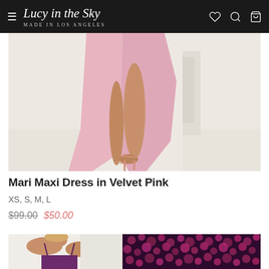Lucy in the Sky — Made in Los Angeles
[Figure (photo): Woman wearing a pink velvet maxi dress with high slit, shown from waist down, standing in a white room with strappy pink heels]
Mari Maxi Dress in Velvet Pink
XS, S, M, L
$99.00 $50.00
[Figure (photo): Woman smiling in a purple sequin dress with spaghetti straps, next to a close-up of purple/magenta sequin fabric]